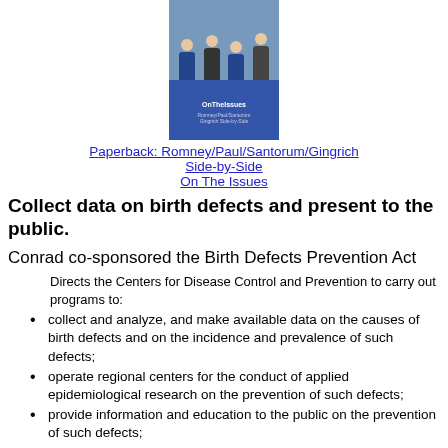[Figure (photo): Book cover photo showing Romney/Paul/Santorum/Gingrich Side-by-Side On The Issues paperback]
Paperback: Romney/Paul/Santorum/Gingrich Side-by-Side
On The Issues
Collect data on birth defects and present to the public.
Conrad co-sponsored the Birth Defects Prevention Act
Directs the Centers for Disease Control and Prevention to carry out programs to:
collect and analyze, and make available data on the causes of birth defects and on the incidence and prevalence of such defects;
operate regional centers for the conduct of applied epidemiological research on the prevention of such defects;
provide information and education to the public on the prevention of such defects;
collect and analyze data by gender and by racial and ethnic group9/6/2004
collect such data from birth and death certificates, hospital records, and such other sources; and
(3) encourage States to establish or improve programs for the collection and analysis of epidemiological data on birth defects and to make the data available.
Corresponding House bill is H.R.1114. Became Public Law No: 105-168.